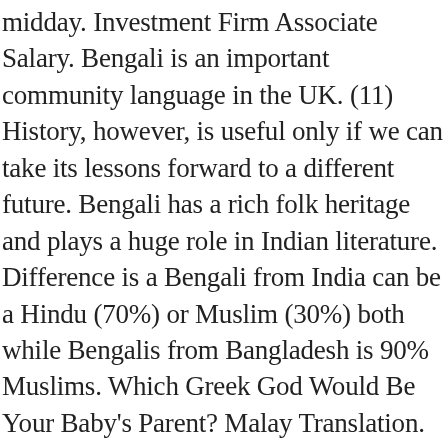midday. Investment Firm Associate Salary. Bengali is an important community language in the UK. (11) History, however, is useful only if we can take its lessons forward to a different future. Bengali has a rich folk heritage and plays a huge role in Indian literature. Difference is a Bengali from India can be a Hindu (70%) or Muslim (30%) both while Bengalis from Bangladesh is 90% Muslims. Which Greek God Would Be Your Baby's Parent? Malay Translation. Bengali is ethnicity. FORWARD meaning in bengali, FORWARD pictures, FORWARD pronunciation, FORWARD translation,FORWARD definition are included in the result of FORWARD meaning in bengali at kitkatwords.com, a free online English bengali Picture dictionary. This page also provides synonyms and grammar usage of forward in bengali Find more Greek words at wordhippo.com! (12) Ben, I expect you to comply with the terms of the restraining order from this point forward . Learn more. All Rights Reserved. The astonishment of both was great when Margaret appeared, early as it was, with her story. He also wished the project team well in their